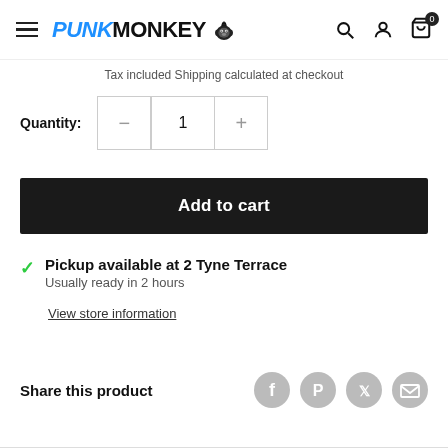PUNKMONKEY (logo with hamburger menu, search, account, and cart icons)
Tax included Shipping calculated at checkout
Quantity: 1
Add to cart
Pickup available at 2 Tyne Terrace
Usually ready in 2 hours
View store information
Share this product